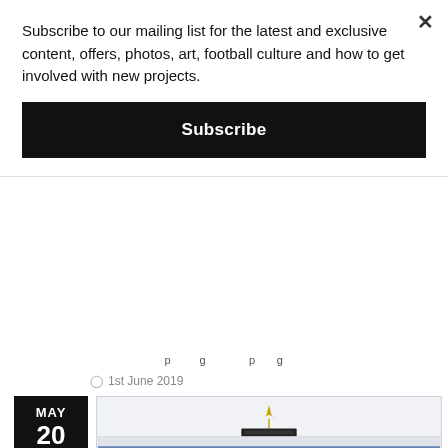Subscribe to our mailing list for the latest and exclusive content, offers, photos, art, football culture and how to get involved with new projects.
Subscribe
1st June 2019
[Figure (other): Black date badge showing MAY 20]
[Figure (photo): Stadium crowd photo showing packed stands of a football stadium with blue and yellow fans, a golden cockerel trophy visible at the top of the stand roof]